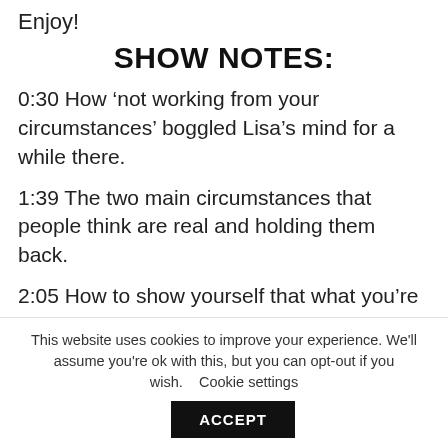Enjoy!
SHOW NOTES:
0:30 How ‘not working from your circumstances’ boggled Lisa’s mind for a while there.
1:39 The two main circumstances that people think are real and holding them back.
2:05 How to show yourself that what you’re believing about your circumstances is just a story.
2:56 Lisa busted through her story about what it
This website uses cookies to improve your experience. We’ll assume you’re ok with this, but you can opt-out if you wish.    Cookie settings  ACCEPT